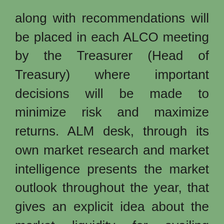along with recommendations will be placed in each ALCO meeting by the Treasurer (Head of Treasury) where important decisions will be made to minimize risk and maximize returns. ALM desk, through its own market research and market intelligence presents the market outlook throughout the year, that gives an explicit idea about the market liquidity for availing market opportunities for loans and advances, investments as well as for fund deployment in alternative forms. The desk helps in pricing the products of both assets and liabilities to gain the competitive advantage from the market movement. It also presents the bank's overall financial position in front of the ALCO members to